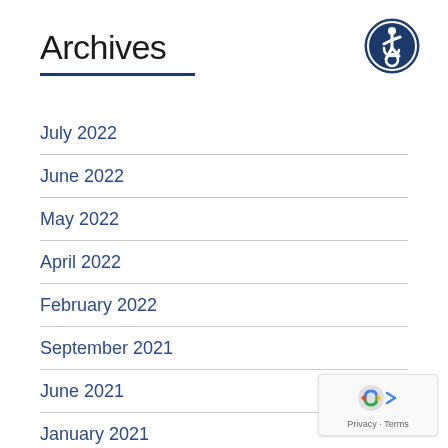Archives
[Figure (logo): Accessibility icon — white wheelchair user figure on dark blue circular background]
July 2022
June 2022
May 2022
April 2022
February 2022
September 2021
June 2021
January 2021
November 2020
October 2020
August 2020